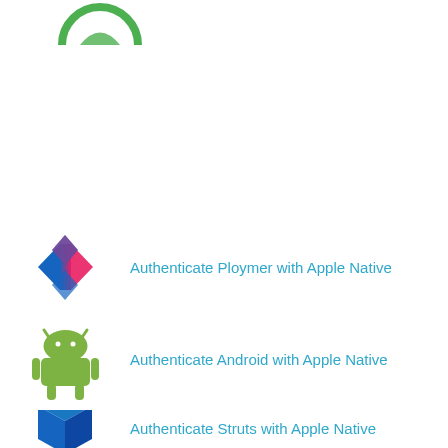[Figure (logo): Green circular logo (partially visible at top)]
[Figure (logo): Polymer logo - angular blue/red/pink diamond shape]
Authenticate Ploymer with Apple Native
[Figure (logo): Android robot logo in green]
Authenticate Android with Apple Native
[Figure (logo): Struts blue hexagonal 3D box logo (partially visible at bottom)]
Authenticate Struts with Apple Native